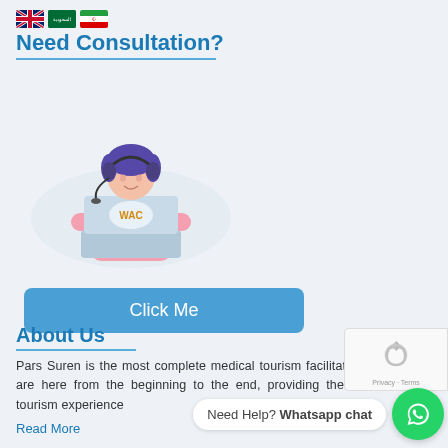Need Consultation?
[Figure (illustration): Customer support agent with headset sitting at laptop with company logo, illustrated in flat design style]
Click Me
About Us
Pars Suren is the most complete medical tourism facilitator in Iran. We are here from the beginning to the end, providing the best medical tourism experience
Read More
Need Help? Whatsapp chat